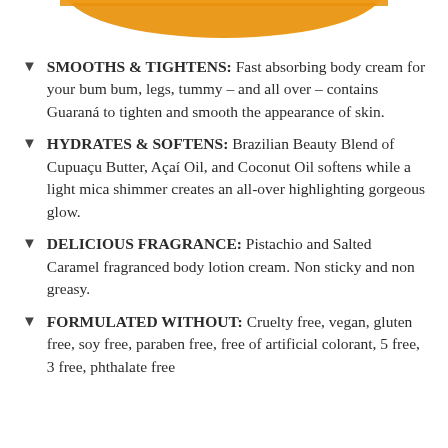[Figure (photo): Partial view of a product container with orange/gold coloring at the top of the page]
SMOOTHS & TIGHTENS: Fast absorbing body cream for your bum bum, legs, tummy – and all over – contains Guaraná to tighten and smooth the appearance of skin.
HYDRATES & SOFTENS: Brazilian Beauty Blend of Cupuaçu Butter, Açaí Oil, and Coconut Oil softens while a light mica shimmer creates an all-over highlighting gorgeous glow.
DELICIOUS FRAGRANCE: Pistachio and Salted Caramel fragranced body lotion cream. Non sticky and non greasy.
FORMULATED WITHOUT: Cruelty free, vegan, gluten free, soy free, paraben free, free of artificial colorant, 5 free, 3 free, phthalate free